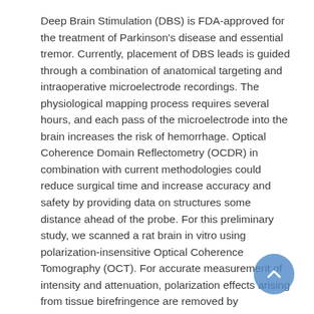Deep Brain Stimulation (DBS) is FDA-approved for the treatment of Parkinson's disease and essential tremor. Currently, placement of DBS leads is guided through a combination of anatomical targeting and intraoperative microelectrode recordings. The physiological mapping process requires several hours, and each pass of the microelectrode into the brain increases the risk of hemorrhage. Optical Coherence Domain Reflectometry (OCDR) in combination with current methodologies could reduce surgical time and increase accuracy and safety by providing data on structures some distance ahead of the probe. For this preliminary study, we scanned a rat brain in vitro using polarization-insensitive Optical Coherence Tomography (OCT). For accurate measurement of intensity and attenuation, polarization effects arising from tissue birefringence are removed by polarization diversity detection. A fresh rat brain was sectioned along the coronal plane and immersed in a 5 mm cuvette with saline solution. OCT images from a 1294 nm light source showed depth profiles up to 2 mm. Light intensity and attenuation rate distinguished various tissue structures such as hippocampus, cortex, external capsule, internal capsule, and optic tract. Attenuation coefficient is determined by linear fitting of the single scattering regime in averaged A-scans where Beer's